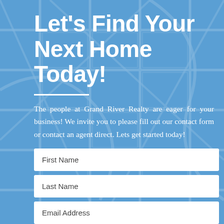Let's Find Your Next Home Today!
The people at Grand River Realty are eager for your business! We invite you to please fill out our contact form or contact an agent direct. Lets get started today!
First Name
Last Name
Email Address